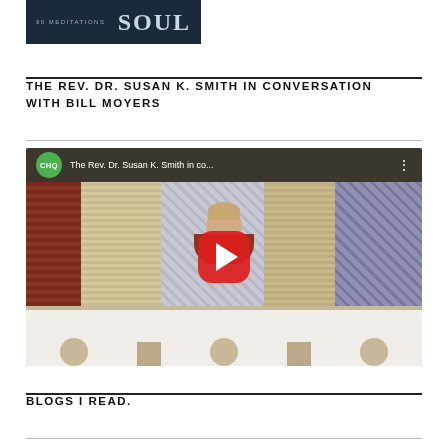[Figure (photo): Book cover showing '90 MEDITATIONS' text and 'SOUL' text on dark blue/navy background]
THE REV. DR. SUSAN K. SMITH IN CONVERSATION WITH BILL MOYERS
[Figure (screenshot): YouTube video thumbnail showing The Rev. Dr. Susan K. Smith speaking at a Chautauqua podium, with CHQ logo, video title 'The Rev. Dr. Susan K. Smith in co...', red play button overlay, and audience in foreground]
BLOGS I READ.